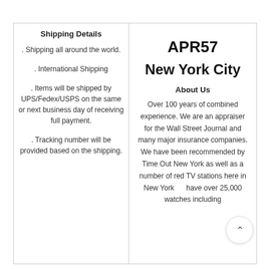Shipping Details
. Shipping all around the world.
. International Shipping
. Items will be shipped by UPS/Fedex/USPS on the same or next business day of receiving full payment.
. Tracking number will be provided based on the shipping.
APR57
New York City
About Us
Over 100 years of combined experience. We are an appraiser for the Wall Street Journal and many major insurance companies. We have been recommended by Time Out New York as well as a number of re... TV stations here in New York... have over 25,000 watches including